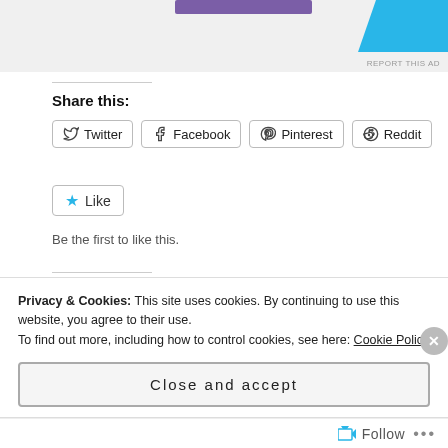[Figure (other): Advertisement area with purple button and cyan/blue diagonal shape, with 'REPORT THIS AD' label]
Share this:
Twitter  Facebook  Pinterest  Reddit
Like
Be the first to like this.
Related
Meet the Author: Erin Albert
Erin Albert Hosts Jackson Paul Baer
Privacy & Cookies: This site uses cookies. By continuing to use this website, you agree to their use.
To find out more, including how to control cookies, see here: Cookie Policy
Close and accept
Follow